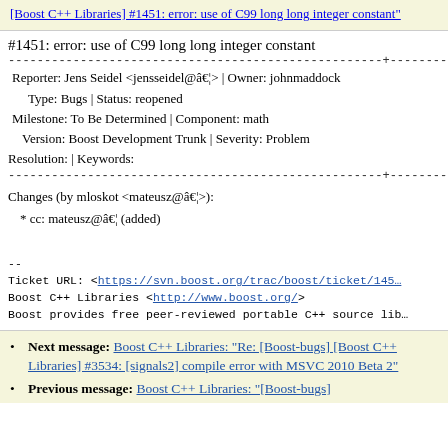[Boost C++ Libraries] #1451: error: use of C99 long long integer constant"
#1451: error: use of C99 long long integer constant
| Reporter: Jens Seidel <jensseidel@â€¦> | Owner: johnmaddock |
| Type: Bugs | Status: reopened |
| Milestone: To Be Determined | Component: math |
| Version: Boost Development Trunk | Severity: Problem |
| Resolution: | Keywords: |
Changes (by mloskot <mateusz@â€¦>):
* cc: mateusz@â€¦ (added)
--
Ticket URL: <https://svn.boost.org/trac/boost/ticket/145…>
Boost C++ Libraries <http://www.boost.org/>
Boost provides free peer-reviewed portable C++ source lib…
Next message: Boost C++ Libraries: "Re: [Boost-bugs] [Boost C++ Libraries] #3534: [signals2] compile error with MSVC 2010 Beta 2"
Previous message: Boost C++ Libraries: "[Boost-bugs]